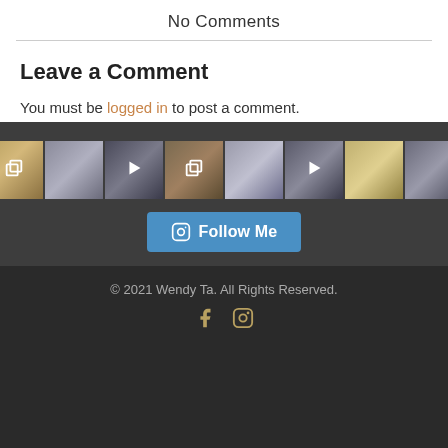No Comments
Leave a Comment
You must be logged in to post a comment.
[Figure (screenshot): Instagram photo grid with 8 thumbnail images showing fashion/lifestyle content, some with multi-photo and video play icons, followed by a blue Follow Me button with Instagram camera icon]
© 2021 Wendy Ta. All Rights Reserved.